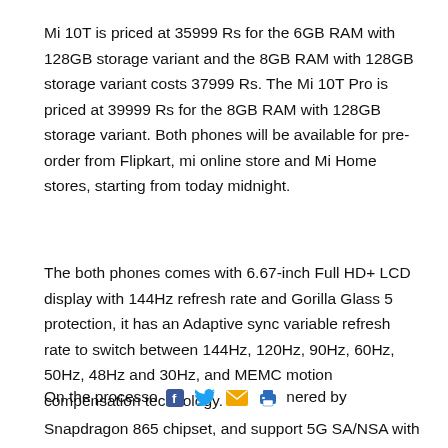Mi 10T is priced at 35999 Rs for the 6GB RAM with 128GB storage variant and the 8GB RAM with 128GB storage variant costs 37999 Rs. The Mi 10T Pro is priced at 39999 Rs for the 8GB RAM with 128GB storage variant. Both phones will be available for pre-order from Flipkart, mi online store and Mi Home stores, starting from today midnight.
The both phones comes with 6.67-inch Full HD+ LCD display with 144Hz refresh rate and Gorilla Glass 5 protection, it has an Adaptive sync variable refresh rate to switch between 144Hz, 120Hz, 90Hz, 60Hz, 50Hz, 48Hz and 30Hz, and MEMC motion compensation technology.
On the processo [social icons] nered by Snapdragon 865 chipset, and support 5G SA/NSA with